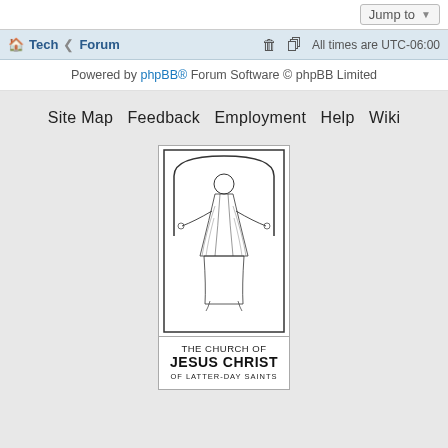Jump to
Tech · Forum   All times are UTC-06:00
Powered by phpBB® Forum Software © phpBB Limited
Site Map   Feedback   Employment   Help   Wiki
[Figure (logo): The Church of Jesus Christ of Latter-day Saints logo with figure of Christ and arched border, with text: THE CHURCH OF JESUS CHRIST OF LATTER-DAY SAINTS]